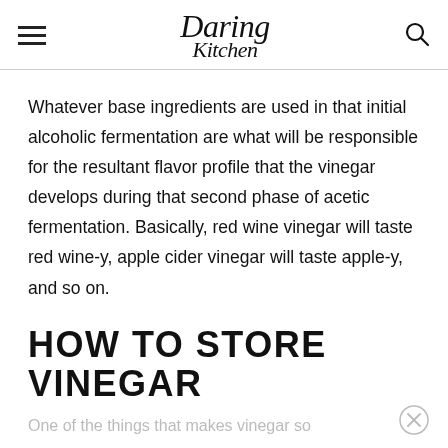Daring Kitchen
Whatever base ingredients are used in that initial alcoholic fermentation are what will be responsible for the resultant flavor profile that the vinegar develops during that second phase of acetic fermentation. Basically, red wine vinegar will taste red wine-y, apple cider vinegar will taste apple-y, and so on.
HOW TO STORE VINEGAR
One of the things that makes vinegar so